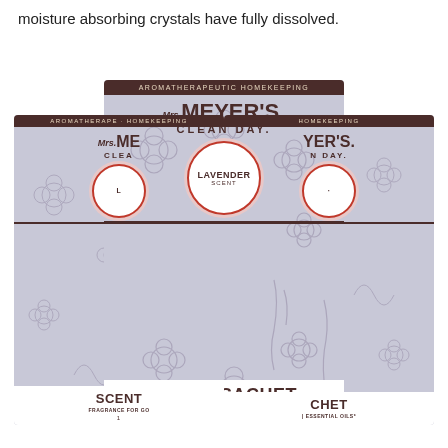moisture absorbing crystals have fully dissolved.
[Figure (photo): Three Mrs. Meyer's Clean Day Lavender Scent Sachet product packages arranged overlapping, center one in front. Each package has a lavender/gray floral background with dark brown header reading 'AROMATHERAPEUTIC HOMEKEEPING', brand name 'Mrs. MEYER'S CLEAN DAY', a circular badge reading 'LAVENDER SCENT', and footer text 'SCENT SACHET FRAGRANCE FOR 60 DAYS | ESSENTIAL OILS* 1 SACHET'.]